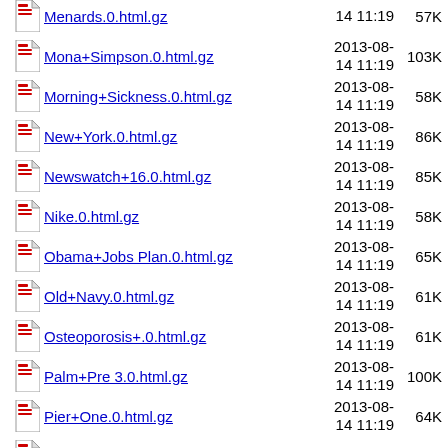Menards.0.html.gz  2013-08-14 11:19  57K
Mona+Simpson.0.html.gz  2013-08-14 11:19  103K
Morning+Sickness.0.html.gz  2013-08-14 11:19  58K
New+York.0.html.gz  2013-08-14 11:19  86K
Newswatch+16.0.html.gz  2013-08-14 11:19  85K
Nike.0.html.gz  2013-08-14 11:19  58K
Obama+Jobs Plan.0.html.gz  2013-08-14 11:19  65K
Old+Navy.0.html.gz  2013-08-14 11:19  61K
Osteoporosis+.0.html.gz  2013-08-14 11:19  61K
Palm+Pre 3.0.html.gz  2013-08-14 11:19  100K
Pier+One.0.html.gz  2013-08-14 11:19  64K
Pottery+Barn.0.html.gz  2013-08-14 11:19  62K